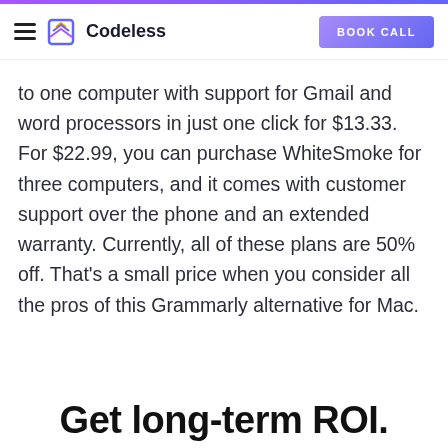Codeless | BOOK CALL
to one computer with support for Gmail and word processors in just one click for $13.33. For $22.99, you can purchase WhiteSmoke for three computers, and it comes with customer support over the phone and an extended warranty. Currently, all of these plans are 50% off. That’s a small price when you consider all the pros of this Grammarly alternative for Mac.
Get long-term ROI.